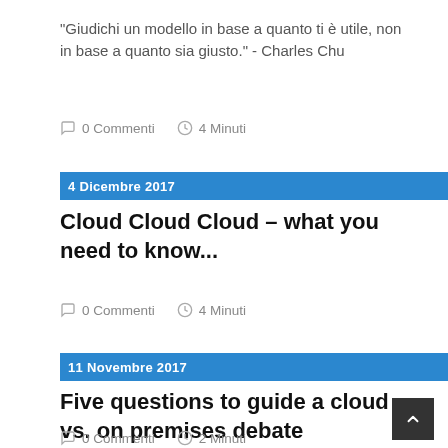"Giudichi un modello in base a quanto ti è utile, non in base a quanto sia giusto." - Charles Chu
0 Commenti   4 Minuti
4 Dicembre 2017
Cloud Cloud Cloud – what you need to know...
0 Commenti   4 Minuti
11 Novembre 2017
Five questions to guide a cloud vs. on premises debate
0 Commenti   2 Minuti